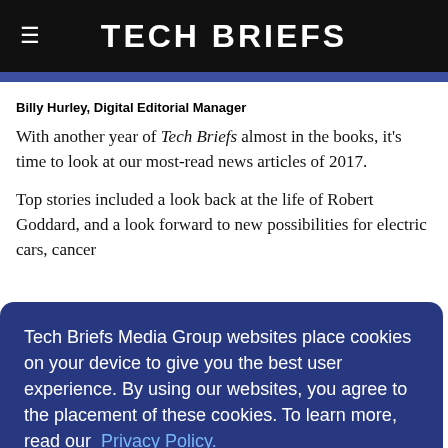Tech Briefs
Billy Hurley, Digital Editorial Manager
With another year of Tech Briefs almost in the books, it's time to look at our most-read news articles of 2017.
Top stories included a look back at the life of Robert Goddard, and a look forward to new possibilities for electric cars, cancer
Tech Briefs Media Group websites place cookies on your device to give you the best user experience. By using our websites, you agree to the placement of these cookies. To learn more, read our Privacy Policy.
Year!
Accept & Continue
7
"Create the Future" Design Contest.